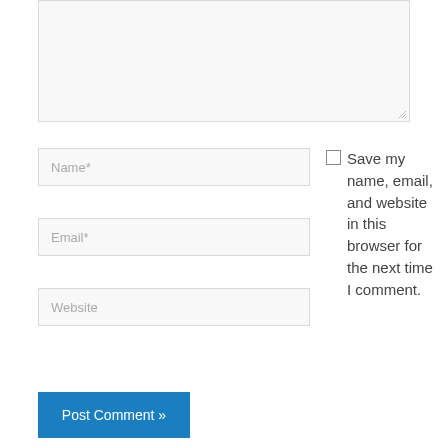[Figure (screenshot): Textarea input box (comment field), partially shown at top of page, with resize handle at bottom-right corner]
Name*
Email*
Website
Save my name, email, and website in this browser for the next time I comment.
Post Comment »